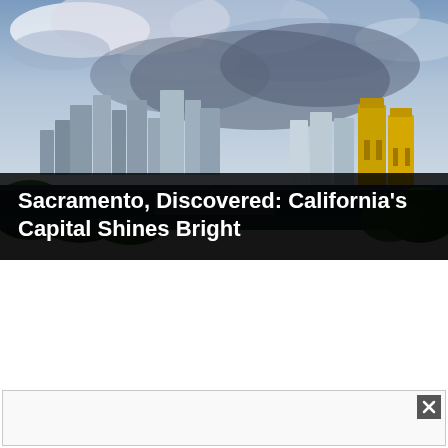[Figure (photo): Aerial/elevated panoramic view of Sacramento, California skyline showing downtown skyscrapers, the Sacramento River, Tower Bridge (gold-colored), green trees, and a dramatic cloudy sky.]
Sacramento, Discovered: California's Capital Shines Bright
[Figure (other): Advertisement box with a close/dismiss button (X icon) in the upper right corner. Content area is blank/white.]